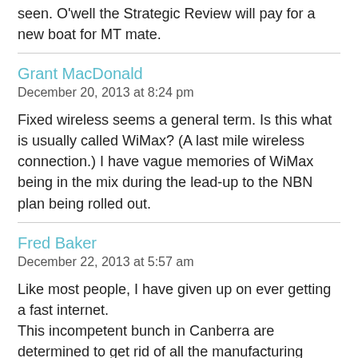seen. O'well the Strategic Review will pay for a new boat for MT mate.
Grant MacDonald
December 20, 2013 at 8:24 pm
Fixed wireless seems a general term. Is this what is usually called WiMax? (A last mile wireless connection.) I have vague memories of WiMax being in the mix during the lead-up to the NBN plan being rolled out.
Fred Baker
December 22, 2013 at 5:57 am
Like most people, I have given up on ever getting a fast internet.
This incompetent bunch in Canberra are determined to get rid of all the manufacturing industry in Australia.
Preventing them from getting an internet comparable to